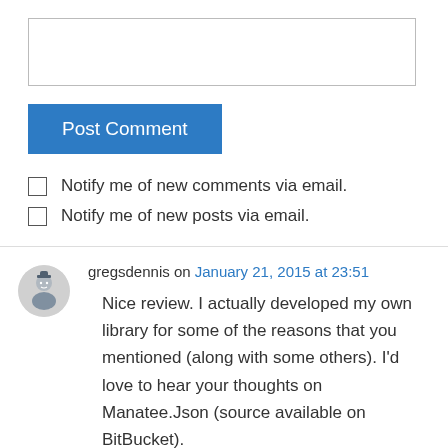[Figure (other): Empty text input box for comment entry]
Post Comment
Notify me of new comments via email.
Notify me of new posts via email.
gregsdennis on January 21, 2015 at 23:51
Nice review. I actually developed my own library for some of the reasons that you mentioned (along with some others). I’d love to hear your thoughts on Manatee.Json (source available on BitBucket).